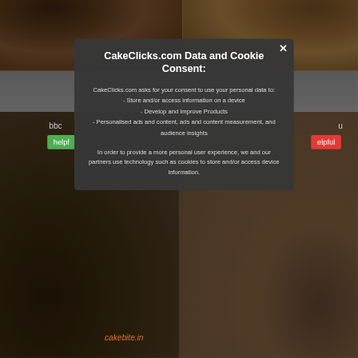[Figure (screenshot): Background showing a food/cake website with multiple cake images in a grid layout. Green 'helpful' and red 'elpful' buttons visible. Text labels 'bbc' and 'u' visible. 'cakebite.in' watermark at bottom.]
CakeClicks.com Data and Cookie Consent:
CakeClicks.com asks for your consent to use your personal data to:
- Store and/or access information on a device
- Develop and Improve Products
- Personalised ads and content, ads and content measurement, and audience insights
In order to provide a more personal user experience, we and our partners use technology such as cookies to store and/or access device information.